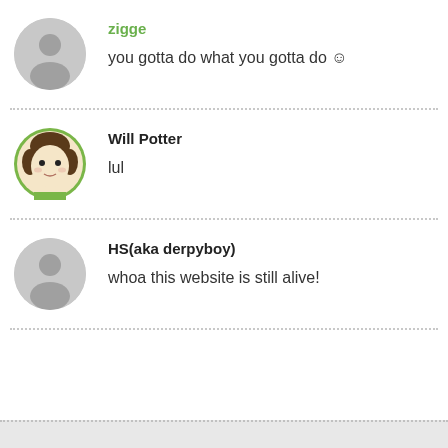zigge
you gotta do what you gotta do ☺
Will Potter
lul
HS(aka derpyboy)
whoa this website is still alive!